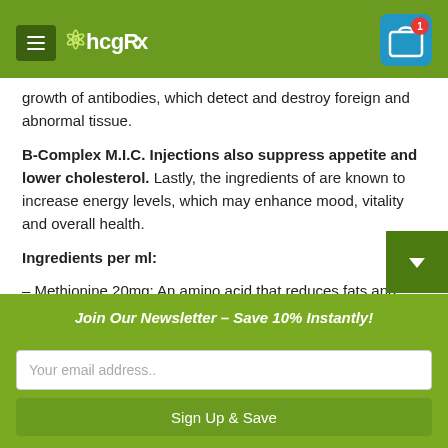hcgRx
growth of antibodies, which detect and destroy foreign and abnormal tissue.
B-Complex M.I.C. Injections also suppress appetite and lower cholesterol. Lastly, the ingredients of are known to increase energy levels, which may enhance mood, vitality and overall health.
Ingredients per ml:
– Methionine 20mg: An amino acid that reduces fats and aids in lowering cholesterol.
– Inositol 10mg: A nutrient used to metabolize and trans...
Join Our Newsletter – Save 10% Instantly!
Your email address..
Sign Up & Save